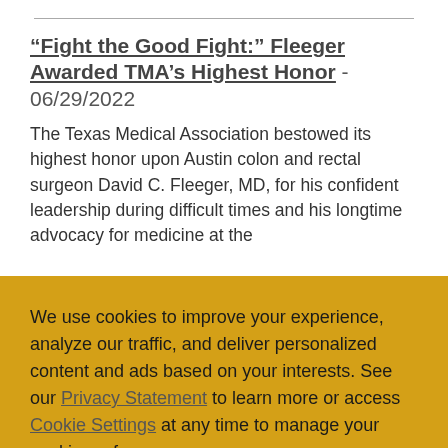“Fight the Good Fight:” Fleeger Awarded TMA’s Highest Honor - 06/29/2022
The Texas Medical Association bestowed its highest honor upon Austin colon and rectal surgeon David C. Fleeger, MD, for his confident leadership during difficult times and his longtime advocacy for medicine at the
We use cookies to improve your experience, analyze our traffic, and deliver personalized content and ads based on your interests. See our Privacy Statement to learn more or access Cookie Settings at any time to manage your cookie preferences.
Decline
Allow cookies